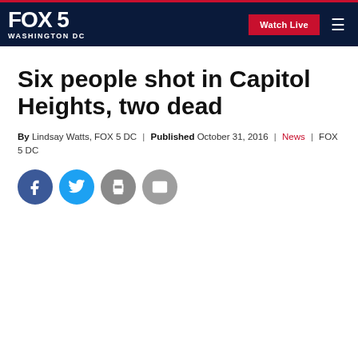FOX 5 WASHINGTON DC | Watch Live
Six people shot in Capitol Heights, two dead
By Lindsay Watts, FOX 5 DC | Published October 31, 2016 | News | FOX 5 DC
[Figure (other): Social share buttons: Facebook, Twitter, Print, Email]